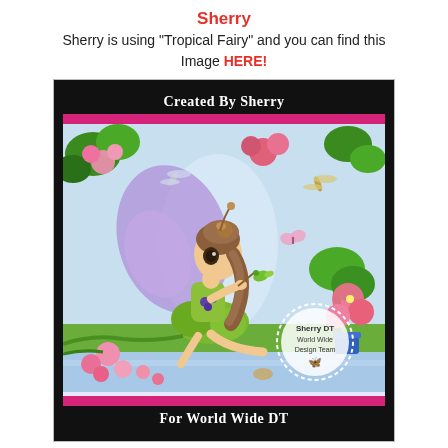Sherry
Sherry is using "Tropical Fairy" and you can find this Image HERE!
[Figure (illustration): A hand-colored illustration card with black border. At the top inside the card: 'Created By Sherry' in white text on black background, followed by a pink/magenta stripe. The main image shows a fairy girl with large purple wings, long brown hair in a ponytail, wearing a green leafy outfit, sitting by a pond with tropical flowers (pink hibiscus, small pink flowers), dragonflies, butterflies, a hummingbird, and lush green foliage. In the lower right of the illustration is a circular stamp reading 'Sherry DT • World Wide Design Team' with a butterfly icon. Below the image is another pink stripe, then 'For World Wide DT' in white text on black background.]